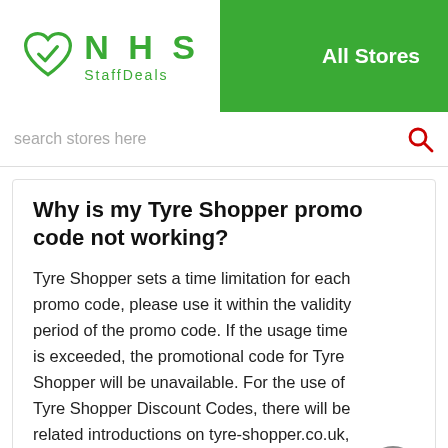NHS StaffDeals — All Stores
search stores here
Why is my Tyre Shopper promo code not working?
Tyre Shopper sets a time limitation for each promo code, please use it within the validity period of the promo code. If the usage time is exceeded, the promotional code for Tyre Shopper will be unavailable. For the use of Tyre Shopper Discount Codes, there will be related introductions on tyre-shopper.co.uk, you can log in to view and find the answers you need.